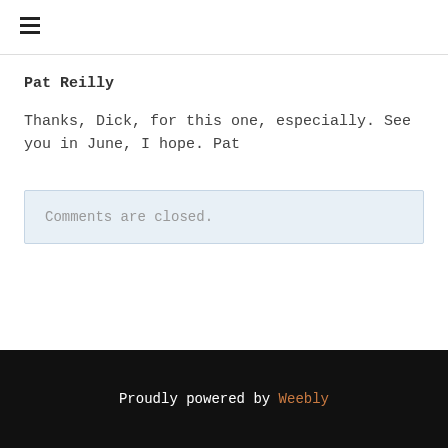≡
Pat Reilly
Thanks, Dick, for this one, especially. See you in June, I hope. Pat
Comments are closed.
Proudly powered by Weebly